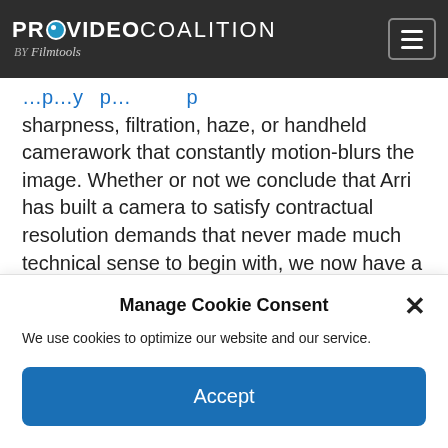PROVIDEO COALITION BY Filmtools
sharpness, filtration, haze, or handheld camerawork that constantly motion-blurs the image. Whether or not we conclude that Arri has built a camera to satisfy contractual resolution demands that never made much technical sense to begin with, we now have a dual-gain Alexa with lots of sensitivity, and that's probably what matters most.
Manage Cookie Consent
We use cookies to optimize our website and our service.
Accept